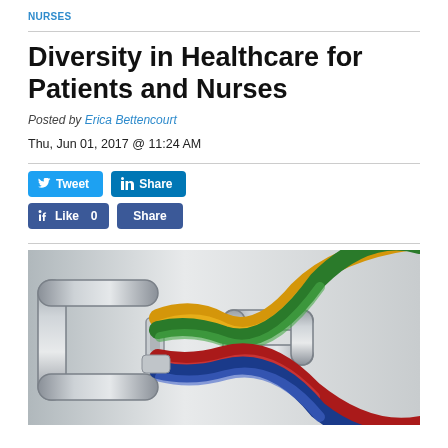NURSES
Diversity in Healthcare for Patients and Nurses
Posted by Erica Bettencourt
Thu, Jun 01, 2017 @ 11:24 AM
[Figure (other): Social sharing buttons: Tweet, LinkedIn Share, Facebook Like 0, Share]
[Figure (photo): Photo of colorful ropes (gold, green, red, blue) intertwined through a metal carabiner/chain link on a light grey background, symbolizing diversity and connection.]